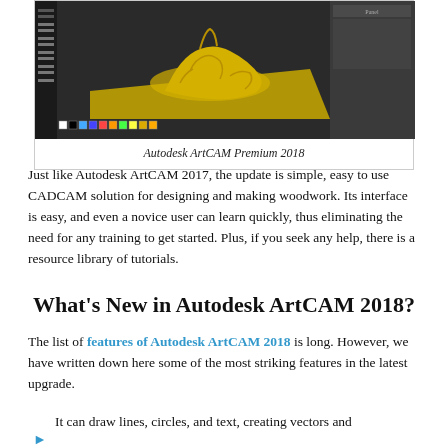[Figure (screenshot): Screenshot of Autodesk ArtCAM Premium 2018 software showing a 3D model of a draped figure on a flat surface, with toolbar on the left and panel on the right. Dark background with yellow/gold 3D model.]
Autodesk ArtCAM Premium 2018
Just like Autodesk ArtCAM 2017, the update is simple, easy to use CADCAM solution for designing and making woodwork. Its interface is easy, and even a novice user can learn quickly, thus eliminating the need for any training to get started. Plus, if you seek any help, there is a resource library of tutorials.
What's New in Autodesk ArtCAM 2018?
The list of features of Autodesk ArtCAM 2018 is long. However, we have written down here some of the most striking features in the latest upgrade.
It can draw lines, circles, and text, creating vectors and